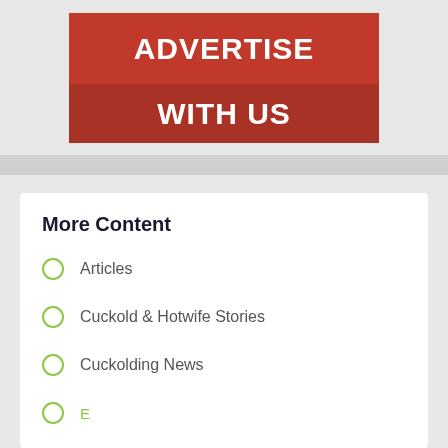[Figure (other): Red advertisement banner reading ADVERTISE WITH US in white bold text on a red background with a darker red lower half]
More Content
Articles
Cuckold & Hotwife Stories
Cuckolding News
E... (partially visible)